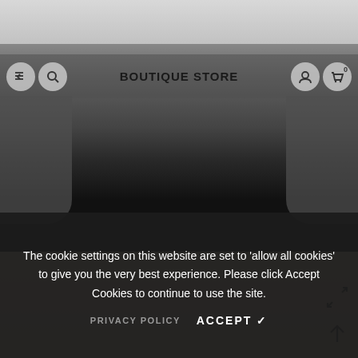[Figure (screenshot): E-commerce boutique store website screenshot showing a female model wearing a dark grey/black two-tone long sleeve top and beige trousers, posing with hands on hips against a light background]
BOUTIQUE STORE
The cookie settings on this website are set to 'allow all cookies' to give you the very best experience. Please click Accept Cookies to continue to use the site.
PRIVACY POLICY   ACCEPT ✓